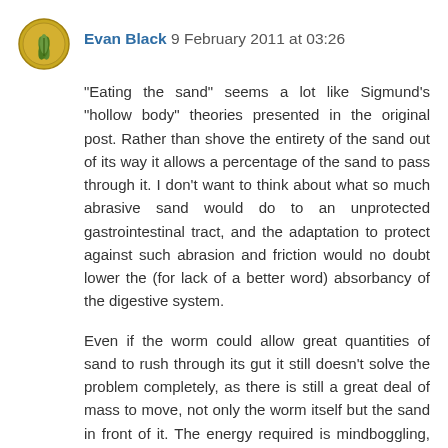Evan Black 9 February 2011 at 03:26
"Eating the sand" seems a lot like Sigmund's "hollow body" theories presented in the original post. Rather than shove the entirety of the sand out of its way it allows a percentage of the sand to pass through it. I don't want to think about what so much abrasive sand would do to an unprotected gastrointestinal tract, and the adaptation to protect against such abrasion and friction would no doubt lower the (for lack of a better word) absorbancy of the digestive system.
Even if the worm could allow great quantities of sand to rush through its gut it still doesn't solve the problem completely, as there is still a great deal of mass to move, not only the worm itself but the sand in front of it. The energy required is mindboggling, as Sigmund has illustrated. We're best just lacing the sand with density-lowering handwavium and just suspending our disbelief in watching the majestic Shai-Hulud tunnel its way through our imagination.
Reply